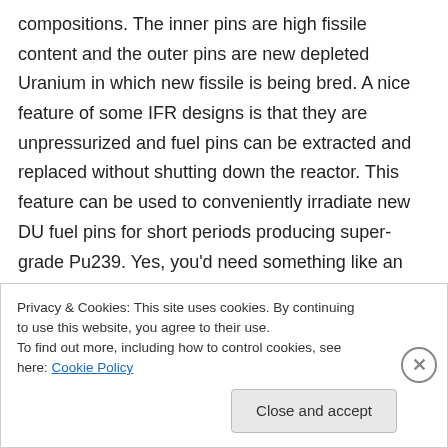compositions. The inner pins are high fissile content and the outer pins are new depleted Uranium in which new fissile is being bred. A nice feature of some IFR designs is that they are unpressurized and fuel pins can be extracted and replaced without shutting down the reactor. This feature can be used to conveniently irradiate new DU fuel pins for short periods producing super-grade Pu239. Yes, you’d need something like an aqueous reprocessing chain somewhere to separate this Pu239 from the
Privacy & Cookies: This site uses cookies. By continuing to use this website, you agree to their use.
To find out more, including how to control cookies, see here: Cookie Policy